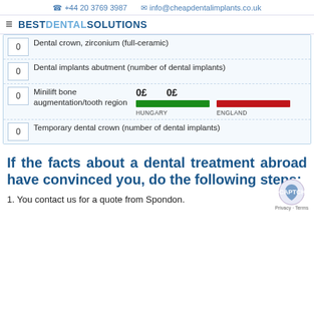+44 20 3769 3987   info@cheapdentalimplants.co.uk
BESTDENTALSOLUTIONS
| Qty | Item | Hungary | England |
| --- | --- | --- | --- |
| 0 | Dental crown, zirconium (full-ceramic) |  |  |
| 0 | Dental implants abutment (number of dental implants) |  |  |
| 0 | Minilift bone augmentation/tooth region | 0 £ | 0 £ |
| 0 | Temporary dental crown (number of dental implants) |  |  |
If the facts about a dental treatment abroad have convinced you, do the following steps:
1. You contact us for a quote from Spondon.